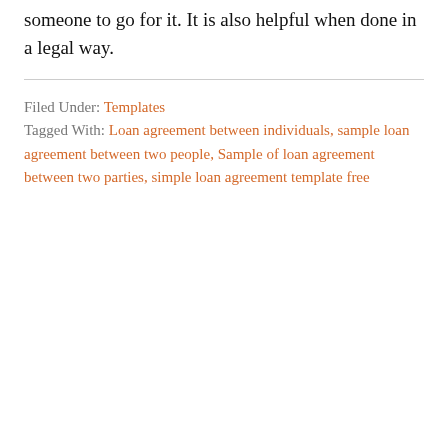someone to go for it. It is also helpful when done in a legal way.
Filed Under: Templates
Tagged With: Loan agreement between individuals, sample loan agreement between two people, Sample of loan agreement between two parties, simple loan agreement template free